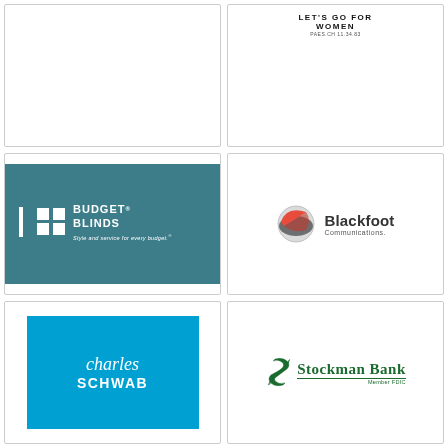[Figure (logo): Top-left logo cell - partially visible, white background with border]
[Figure (logo): Top-right logo cell - partially visible bold text logo at top]
[Figure (logo): Budget Blinds logo - teal background with white squares icon, text 'BUDGET BLINDS Style and service for every budget.']
[Figure (logo): Blackfoot Communications logo - orange/grey sphere icon with text 'Blackfoot Communications.']
[Figure (logo): Charles Schwab logo - blue background with italic 'charles' and bold 'SCHWAB']
[Figure (logo): Stockman Bank logo - green S icon with text 'Stockman Bank' and underline, 'Member FDIC']